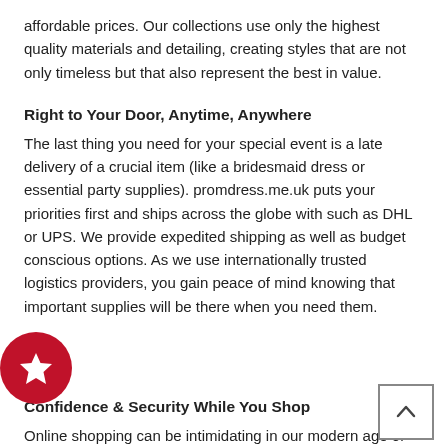affordable prices. Our collections use only the highest quality materials and detailing, creating styles that are not only timeless but that also represent the best in value.
Right to Your Door, Anytime, Anywhere
The last thing you need for your special event is a late delivery of a crucial item (like a bridesmaid dress or essential party supplies). promdress.me.uk puts your priorities first and ships across the globe with such as DHL or UPS. We provide expedited shipping as well as budget conscious options. As we use internationally trusted logistics providers, you gain peace of mind knowing that important supplies will be there when you need them.
Confidence & Security While You Shop
Online shopping can be intimidating in our modern age of Internet fraud. But it doesn't have to be that way. promdress.me.uk offers a secure and safe shopping environment for all customers. We use trusted payment processing systems, integrate VeriSign's globally recognized payment technology, and accept credit card, debit card, wire transfer, Western Union, and PayPal payments. Now you have the convenience to pay as you like and the confidence that your information is safe.